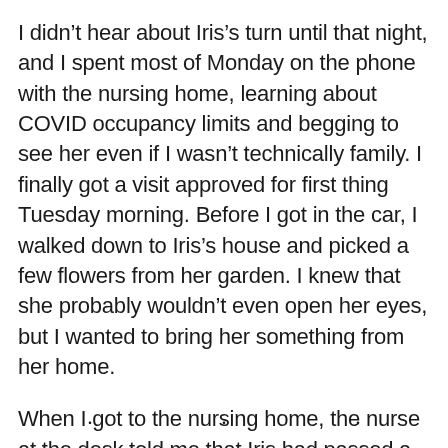I didn't hear about Iris's turn until that night, and I spent most of Monday on the phone with the nursing home, learning about COVID occupancy limits and begging to see her even if I wasn't technically family. I finally got a visit approved for first thing Tuesday morning. Before I got in the car, I walked down to Iris's house and picked a few flowers from her garden. I knew that she probably wouldn't even open her eyes, but I wanted to bring her something from her home.
When I got to the nursing home, the nurse at the desk told me that Iris had passed a couple hours earlier.
. . .